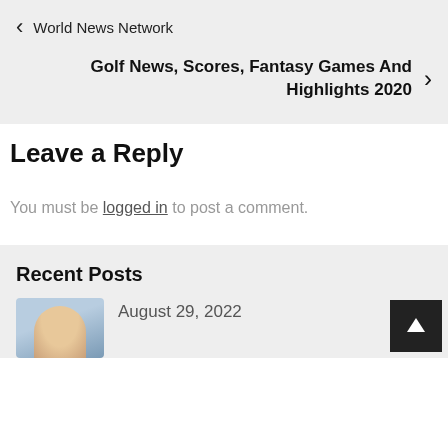< World News Network
Golf News, Scores, Fantasy Games And Highlights 2020 >
Leave a Reply
You must be logged in to post a comment.
Recent Posts
August 29, 2022